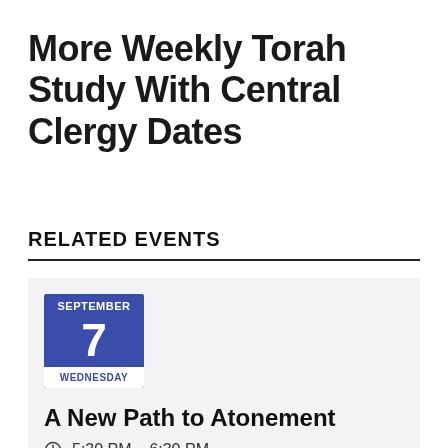More Weekly Torah Study With Central Clergy Dates
RELATED EVENTS
SEPTEMBER 7 WEDNESDAY
A New Path to Atonement
5:30 PM – 6:30 PM